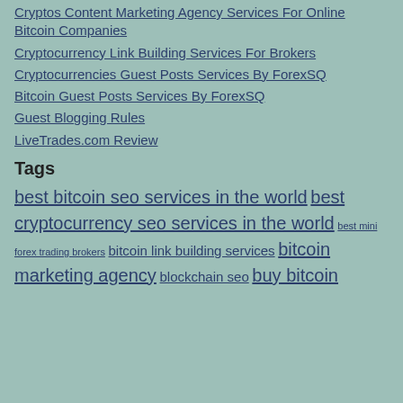Cryptos Content Marketing Agency Services For Online Bitcoin Companies
Cryptocurrency Link Building Services For Brokers
Cryptocurrencies Guest Posts Services By ForexSQ
Bitcoin Guest Posts Services By ForexSQ
Guest Blogging Rules
LiveTrades.com Review
Tags
best bitcoin seo services in the world best cryptocurrency seo services in the world best mini forex trading brokers bitcoin link building services bitcoin marketing agency blockchain seo buy bitcoin